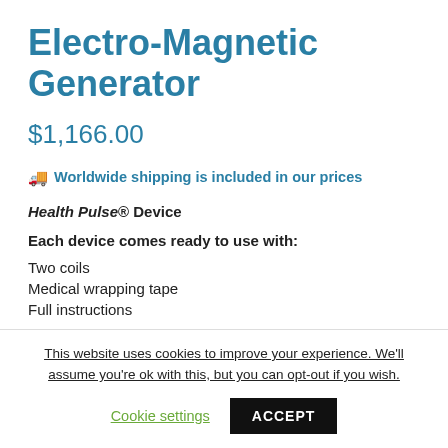Electro-Magnetic Generator
$1,166.00
🚚 Worldwide shipping is included in our prices
Health Pulse® Device
Each device comes ready to use with:
Two coils
Medical wrapping tape
Full instructions
This website uses cookies to improve your experience. We'll assume you're ok with this, but you can opt-out if you wish.
Cookie settings
ACCEPT